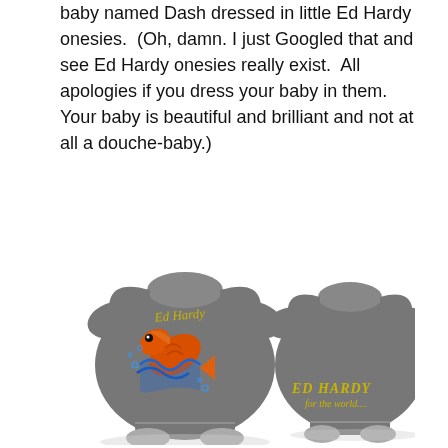baby named Dash dressed in little Ed Hardy onesies. (Oh, damn. I just Googled that and see Ed Hardy onesies really exist. All apologies if you dress your baby in them. Your baby is beautiful and brilliant and not at all a douche-baby.)
[Figure (photo): Two gray Ed Hardy baby onesies shown front and back. The front onesie has a colorful koi fish with blue waves and 'Ed Hardy' in yellow script. The back onesie shows 'ED HARDY for the world...' in yellow text.]